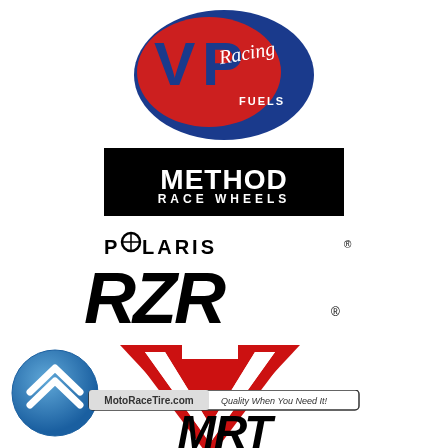[Figure (logo): VP Racing Fuels logo - red oval with blue 'VP' letters and cursive 'Racing' text, 'FUELS' below in blue on white background]
[Figure (logo): Method Race Wheels logo - black rectangle with bold white 'METHOD' text on top line and 'RACE WHEELS' below]
[Figure (logo): Polaris RZR logo - 'POLARIS' in black sans-serif with crosshair in O, below is large italic 'RZR' with registered trademark symbol]
[Figure (logo): Red chevron/arrow pointing downward logo - stylized V shape in red with thick outline]
[Figure (logo): Blue circle with white double chevron/arrow pointing up - navigation/back-to-top button style]
[Figure (logo): MotoRaceTire.com logo - 'MotoRaceTire.com Quality When You Need It!' banner above stylized 'MRT' letters partially visible at bottom]